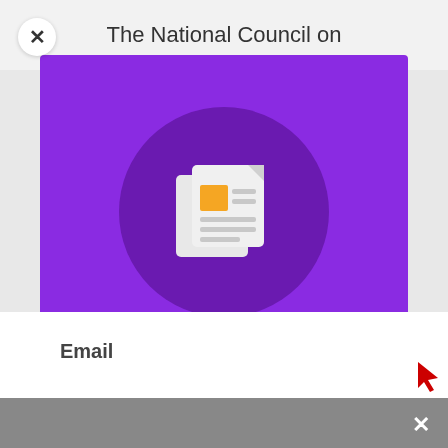The National Council on
[Figure (illustration): Newsletter/newspaper icon with orange block and lines on a dark purple circle background, inside a purple modal popup with close X button]
Join Our Community! Get updates via our newsletter.
Email